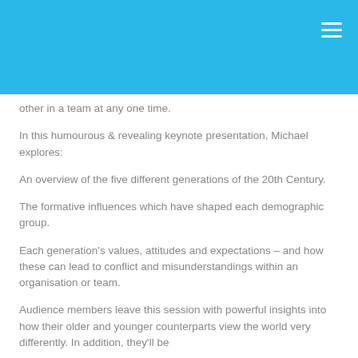other in a team at any one time.
In this humourous & revealing keynote presentation, Michael explores:
An overview of the five different generations of the 20th Century.
The formative influences which have shaped each demographic group.
Each generation's values, attitudes and expectations – and how these can lead to conflict and misunderstandings within an organisation or team.
Audience members leave this session with powerful insights into how their older and younger counterparts view the world very differently. In addition, they'll be